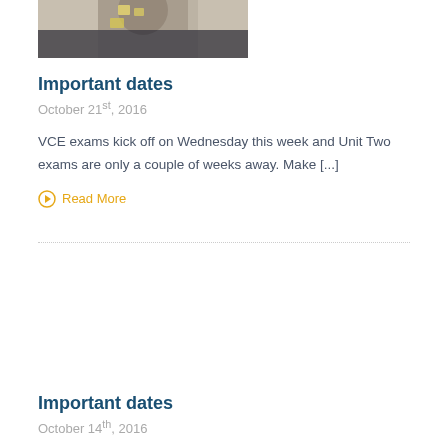[Figure (photo): Partial photo of a person (cropped at top), appears to be a woman with dark hair wearing a dark jacket, with sticky notes visible in the background. Only the lower portion of the image is visible.]
Important dates
October 21st, 2016
VCE exams kick off on Wednesday this week and Unit Two exams are only a couple of weeks away. Make [...]
Read More
Important dates
October 14th, 2016